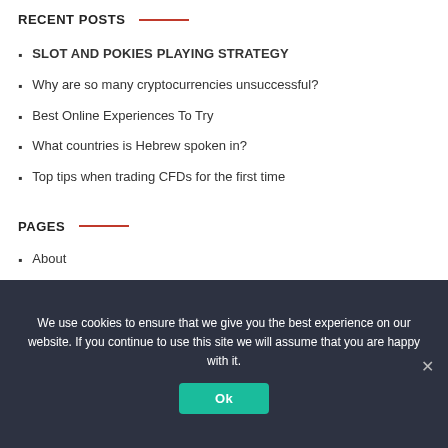RECENT POSTS
SLOT AND POKIES PLAYING STRATEGY
Why are so many cryptocurrencies unsuccessful?
Best Online Experiences To Try
What countries is Hebrew spoken in?
Top tips when trading CFDs for the first time
PAGES
About
We use cookies to ensure that we give you the best experience on our website. If you continue to use this site we will assume that you are happy with it.
Ok